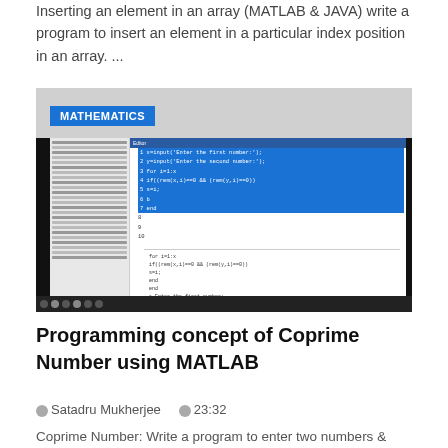Inserting an element in an array (MATLAB & JAVA) write a program to insert an element in a particular index position in an array. ...
[Figure (screenshot): Screenshot of MATLAB editor showing code for coprime number program with blue highlighted selected lines, alongside a command window showing partial code output. A 'MATHEMATICS' badge appears in the top-left corner of the thumbnail.]
Programming concept of Coprime Number using MATLAB
Satadru Mukherjee   23:32
Coprime Number: Write a program to enter two numbers &